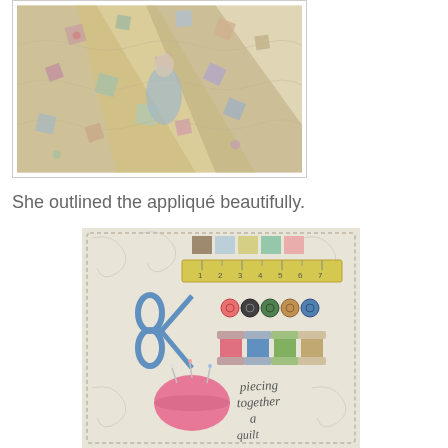[Figure (photo): Close-up photo of a detailed quilt with appliqué work, showing various fabric pieces in cream, green, pink, and other colors arranged in a pattern with quilting stitches visible.]
She outlined the appliqué beautifully.
[Figure (photo): Photo of a quilt block featuring sewing-themed appliqué: scissors, spools of thread in various colors, buttons, a ruler, and a pincushion, with text reading 'piecing together a quilt'.]